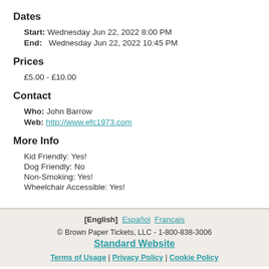Dates
Start: Wednesday Jun 22, 2022 8:00 PM
End: Wednesday Jun 22, 2022 10:45 PM
Prices
£5.00 - £10.00
Contact
Who: John Barrow
Web: http://www.efc1973.com
More Info
Kid Friendly: Yes!
Dog Friendly: No
Non-Smoking: Yes!
Wheelchair Accessible: Yes!
[English] Español Français © Brown Paper Tickets, LLC - 1-800-838-3006 Standard Website Terms of Usage | Privacy Policy | Cookie Policy